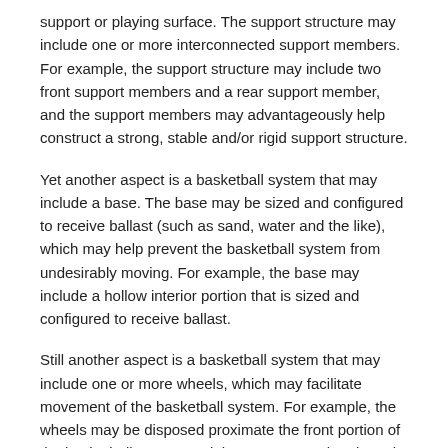support or playing surface. The support structure may include one or more interconnected support members. For example, the support structure may include two front support members and a rear support member, and the support members may advantageously help construct a strong, stable and/or rigid support structure.
Yet another aspect is a basketball system that may include a base. The base may be sized and configured to receive ballast (such as sand, water and the like), which may help prevent the basketball system from undesirably moving. For example, the base may include a hollow interior portion that is sized and configured to receive ballast.
Still another aspect is a basketball system that may include one or more wheels, which may facilitate movement of the basketball system. For example, the wheels may be disposed proximate the front portion of the basketball system and the system may be pivoted onto the wheels to facilitate movement.
A further aspect is a basketball system that may include engaging members, such as feet, which may be sized and configured to help retain the basketball system in a generally fixed or stationary position. The feet, for example, may be sized and configured to engage a support or playing surface to help retain the basketball system in a generally fixed or stationary position. The feet may also assist in leveling and/or adjusting the